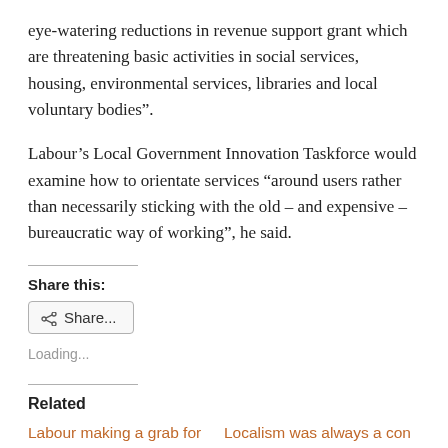eye-watering reductions in revenue support grant which are threatening basic activities in social services, housing, environmental services, libraries and local voluntary bodies”.
Labour’s Local Government Innovation Taskforce would examine how to orientate services “around users rather than necessarily sticking with the old – and expensive – bureaucratic way of working”, he said.
Share this:
[Figure (other): Share button with share icon and text 'Share...']
Loading...
Related
Labour making a grab for
Localism was always a con